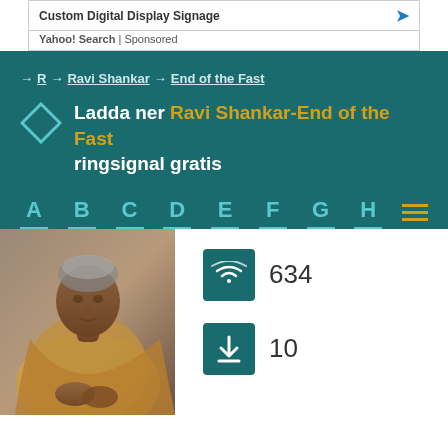Custom Digital Display Signage
Yahoo! Search | Sponsored
→ R → Ravi Shankar → End of the Fast
Ladda ner Ravi Shankar-End of the Fast ringsignal gratis
A B C D E F G H ≡
[Figure (photo): Portrait photo of Ravi Shankar, elderly Indian man wearing golden shawl]
634
10